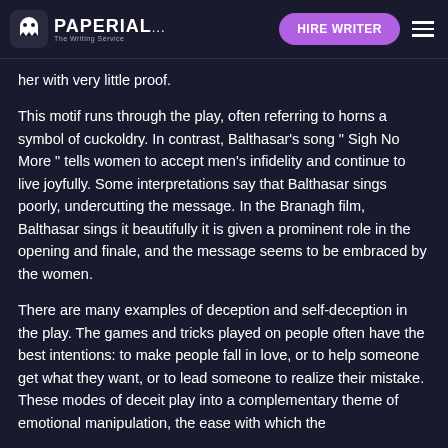PAPERIAL... HIRE WRITER
her with very little proof.
This motif runs through the play, often referring to horns a symbol of cuckoldry. In contrast, Balthasar's song " Sigh No More " tells women to accept men's infidelity and continue to live joyfully. Some interpretations say that Balthasar sings poorly, undercutting the message. In the Branagh film, Balthasar sings it beautifully it is given a prominent role in the opening and finale, and the message seems to be embraced by the women.
There are many examples of deception and self-deception in the play. The games and tricks played on people often have the best intentions: to make people fall in love, or to help someone get what they want, or to lead someone to realize their mistake. These modes of deceit play into a complementary theme of emotional manipulation, the ease with which the